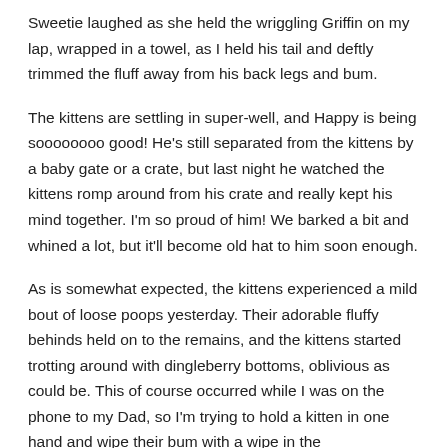Sweetie laughed as she held the wriggling Griffin on my lap, wrapped in a towel, as I held his tail and deftly trimmed the fluff away from his back legs and bum.
The kittens are settling in super-well, and Happy is being soooooooo good! He's still separated from the kittens by a baby gate or a crate, but last night he watched the kittens romp around from his crate and really kept his mind together. I'm so proud of him! We barked a bit and whined a lot, but it'll become old hat to him soon enough.
As is somewhat expected, the kittens experienced a mild bout of loose poops yesterday. Their adorable fluffy behinds held on to the remains, and the kittens started trotting around with dingleberry bottoms, oblivious as could be. This of course occurred while I was on the phone to my Dad, so I'm trying to hold a kitten in one hand and wipe their bum with a wipe in the